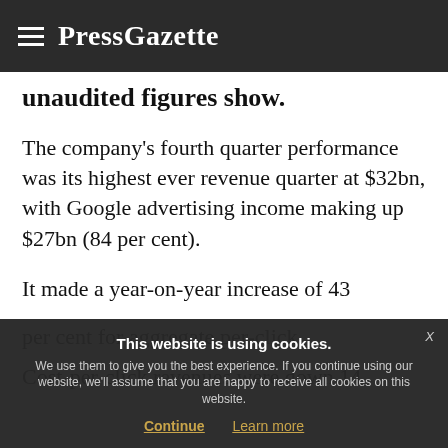PressGazette
unaudited figures show.
The company's fourth quarter performance was its highest ever revenue quarter at $32bn, with Google advertising income making up $27bn (84 per cent).
It made a year-on-year increase of 43 per cent for aggregate per-click advertising—
Cost-per-click revenues were down 14